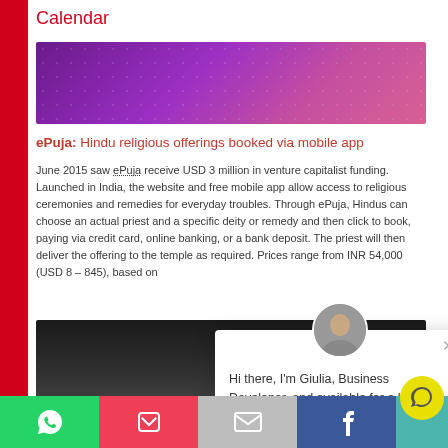Calendar
[Figure (photo): Purple gradient banner image with dot pattern overlay]
ePuja: Hindu religious offerings booked via mobile app
June 2015 saw ePuja receive USD 3 million in venture capitalist funding. Launched in India, the website and free mobile app allow access to religious ceremonies and remedies for everyday troubles. Through ePuja, Hindus can choose an actual priest and a specific deity or remedy and then click to book, paying via credit card, online banking, or a bank deposit. The priest will then deliver the offering to the temple as required. Prices range from INR 54,000 (USD 8 – 845), based on
[Figure (photo): Dark blurred background image]
Hi there, I'm Giulia, Business Developer, and available for a live chat. Ask me anything about our custom services or trend platform. (And yes, I'm a real person ☺)
Social share toolbar: WhatsApp, Pocket, Email, Facebook, Chat